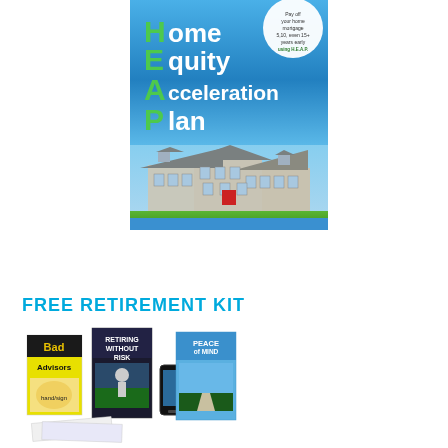[Figure (illustration): Book cover for the Home Equity Acceleration Plan (H.E.A.P.) showing a large colonial-style house on a green lawn. The cover has a blue gradient background with large white letters spelling out H, E, A, P vertically (Home Equity Acceleration Plan). A circular badge says 'Pay off your home mortgage 5, 10, even 15+ years early using H.E.A.P.']
FREE RETIREMENT KIT
[Figure (photo): Collection of retirement kit materials including books titled 'Bad Advisors', 'Retiring Without Risk', 'Peace of Mind', a smartphone, and various brochures/cards arranged in a display.]